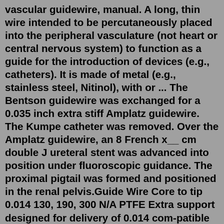vascular guidewire, manual. A long, thin wire intended to be percutaneously placed into the peripheral vasculature (not heart or central nervous system) to function as a guide for the introduction of devices (e.g., catheters). It is made of metal (e.g., stainless steel, Nitinol), with or ... The Bentson guidewire was exchanged for a 0.035 inch extra stiff Amplatz guidewire. The Kumpe catheter was removed. Over the Amplatz guidewire, an 8 French x__ cm double J ureteral stent was advanced into position under fluoroscopic guidance. The proximal pigtail was formed and positioned in the renal pelvis.Guide Wire Core to tip 0.014 130, 190, 300 N/A PTFE Extra support designed for delivery of 0.014 com-patible devices; soft tip.035 LOC Guide Wire Extension N/A 0.035 115 N/A PTFE Not provided Hi-Torque Connect 250T ... Starter Bentson Fixed core 0.035, 0.038 150, 180, 260Cerebral Guidewire .035 Inch Diameter X 20 cm Length Tip 145 cm Length Straight Tip Cook Medical G00691 ... GUIDEWIRE,